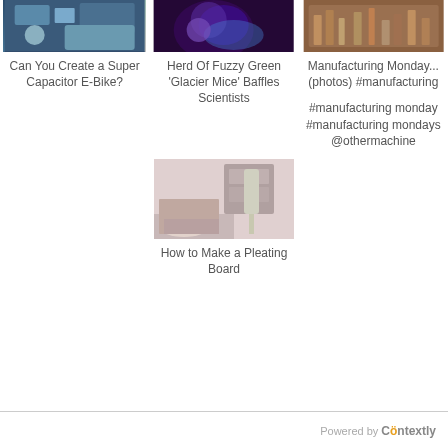[Figure (photo): Thumbnail image of electronics/capacitor e-bike components]
[Figure (photo): Thumbnail image with blue/purple light, fuzzy green glacier mice]
[Figure (photo): Thumbnail image of manufacturing/industrial pipes]
Can You Create a Super Capacitor E-Bike?
Herd Of Fuzzy Green 'Glacier Mice' Baffles Scientists
Manufacturing Monday... (photos) #manufacturing
#manufacturing monday #manufacturing mondays @othermachine
[Figure (photo): Thumbnail image of person at desk working on a pleating board project]
How to Make a Pleating Board
Powered by Contextly